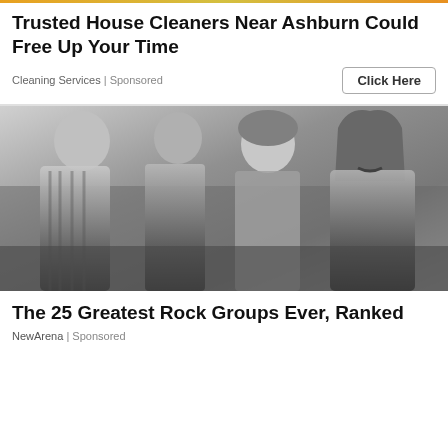Trusted House Cleaners Near Ashburn Could Free Up Your Time
Cleaning Services | Sponsored
[Figure (photo): Black and white photo of four people (a rock band) posing together. Three men and one woman, dressed in 1970s-style clothing.]
The 25 Greatest Rock Groups Ever, Ranked
NewArena | Sponsored